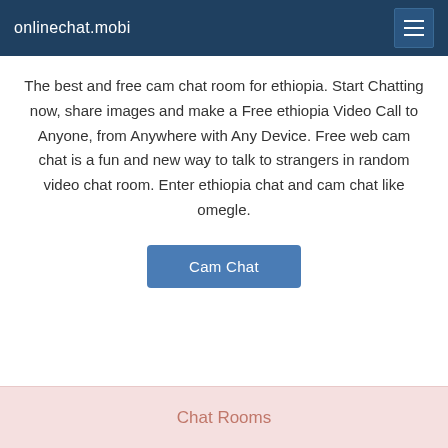onlinechat.mobi
The best and free cam chat room for ethiopia. Start Chatting now, share images and make a Free ethiopia Video Call to Anyone, from Anywhere with Any Device. Free web cam chat is a fun and new way to talk to strangers in random video chat room. Enter ethiopia chat and cam chat like omegle.
[Figure (other): Cam Chat button - a rounded rectangular button with blue background and white text reading 'Cam Chat']
Chat Rooms